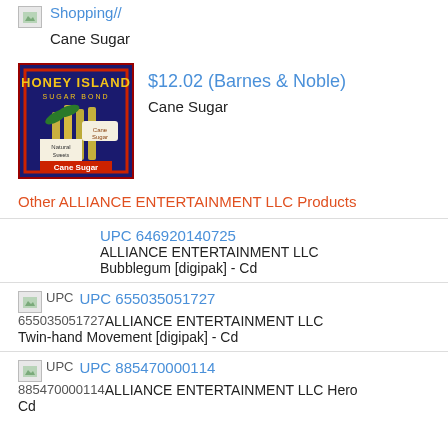[Figure (illustration): Broken image icon placeholder for shopping link]
Shopping//
Cane Sugar
[Figure (illustration): Honey Island Cane Sugar product image - vintage label with red border, dark background, cane sugar stalks]
$12.02 (Barnes & Noble)
Cane Sugar
Other ALLIANCE ENTERTAINMENT LLC Products
UPC 646920140725
ALLIANCE ENTERTAINMENT LLC
Bubblegum [digipak] - Cd
UPC 655035051727 UPC 655035051727
ALLIANCE ENTERTAINMENT LLC
Twin-hand Movement [digipak] - Cd
UPC 885470000114 UPC 885470000114
ALLIANCE ENTERTAINMENT LLC Hero
Cd